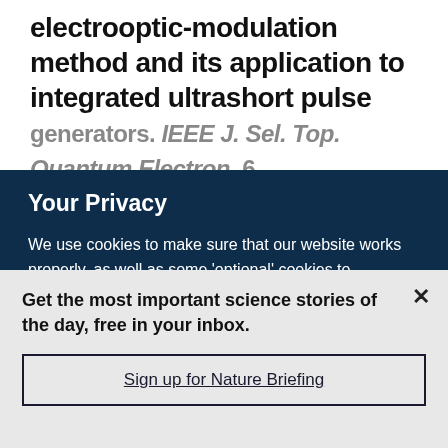electrooptic-modulation method and its application to integrated ultrashort pulse generators. IEEE J. Sel. Top. Quantum Electron. 6...
Your Privacy
We use cookies to make sure that our website works properly, as well as some 'optional' cookies to personalise content and advertising, provide social media features and analyse how people use our site. By accepting some or all optional cookies you give consent to the processing of your personal data, including transfer to third parties, some in countries outside of the European Economic Area that do not offer the same data protection standards as the country where you live. You can decide which optional cookies to accept by clicking on 'Manage Settings', where you can
Get the most important science stories of the day, free in your inbox.
Sign up for Nature Briefing